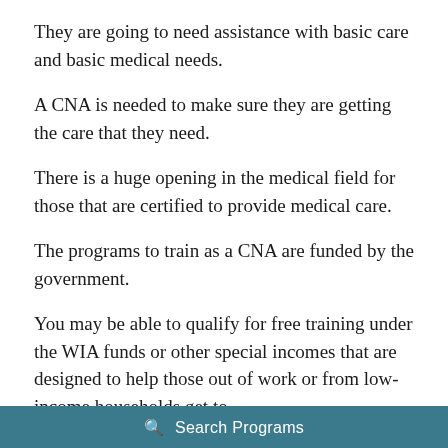They are going to need assistance with basic care and basic medical needs.
A CNA is needed to make sure they are getting the care that they need.
There is a huge opening in the medical field for those that are certified to provide medical care.
The programs to train as a CNA are funded by the government.
You may be able to qualify for free training under the WIA funds or other special incomes that are designed to help those out of work or from low-income households get to
Search Programs